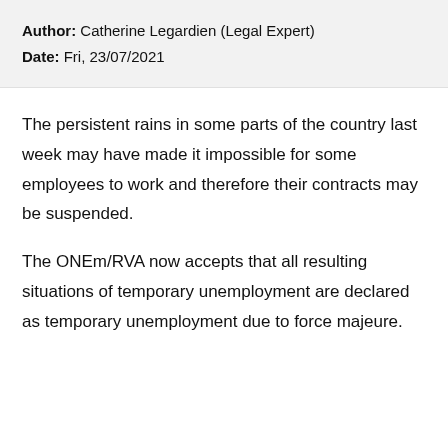Author: Catherine Legardien (Legal Expert)
Date: Fri, 23/07/2021
The persistent rains in some parts of the country last week may have made it impossible for some employees to work and therefore their contracts may be suspended.
The ONEm/RVA now accepts that all resulting situations of temporary unemployment are declared as temporary unemployment due to force majeure.